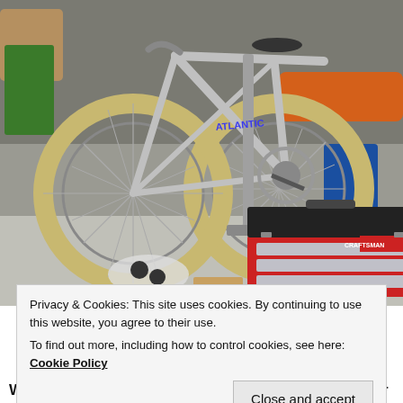[Figure (photo): A bicycle frame on a repair stand in a garage, with a Craftsman red and black toolbox on the concrete floor below it, along with some bicycle parts and tools scattered around.]
Privacy & Cookies: This site uses cookies. By continuing to use this website, you agree to their use.
To find out more, including how to control cookies, see here: Cookie Policy
Close and accept
When I stood the bike up it sagged pitifully on its rear